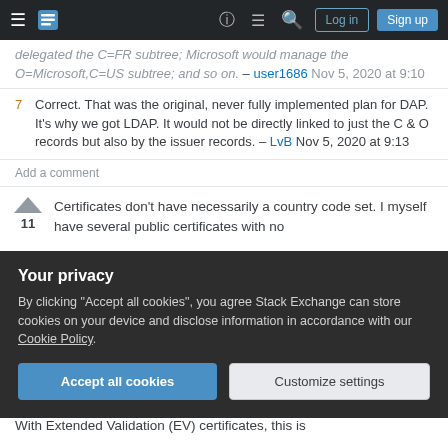Stack Exchange navigation bar with Log in and Sign up buttons
delegated the C=FR subtree; Microsoft would manage the O=Microsoft,C=US subtree; and so on. – user1686 Nov 5, 2020 at 9:10
7 Correct. That was the original, never fully implemented plan for DAP. It's why we got LDAP. It would not be directly linked to just the C & O records but also by the issuer records. – LvB Nov 5, 2020 at 9:13
Add a comment
Certificates don't have necessarily a country code set. I myself have several public certificates with no
11
Your privacy
By clicking "Accept all cookies", you agree Stack Exchange can store cookies on your device and disclose information in accordance with our Cookie Policy.
Accept all cookies  Customize settings
With Extended Validation (EV) certificates, this is...